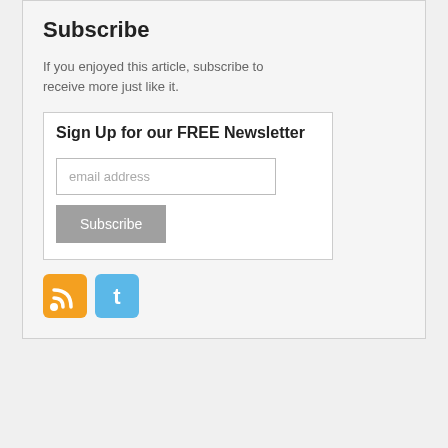Subscribe
If you enjoyed this article, subscribe to receive more just like it.
Sign Up for our FREE Newsletter
[Figure (illustration): Email subscription form with email address input field and Subscribe button]
[Figure (illustration): RSS feed icon (orange) and Twitter icon (blue) social media buttons]